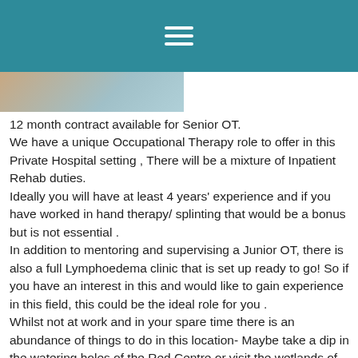[Figure (other): Teal/blue navigation header bar with hamburger menu icon (three white horizontal lines)]
[Figure (photo): Partial photo strip visible at top left below header bar]
12 month contract available for Senior OT.
We have a unique Occupational Therapy role to offer in this Private Hospital setting , There will be a mixture of Inpatient Rehab duties.
Ideally you will have at least 4 years' experience and if you have worked in hand therapy/ splinting that would be a bonus but is not essential .
In addition to mentoring and supervising a Junior OT, there is also a full Lymphoedema clinic that is set up ready to go! So if you have an interest in this and would like to gain experience in this field, this could be the ideal role for you .
Whilst not at work and in your spare time there is an abundance of things to do in this location- Maybe take a dip in the watering holes of the Red Centre or visit the wetlands of Kakadu
Applications are welcome from the Hospital and ...